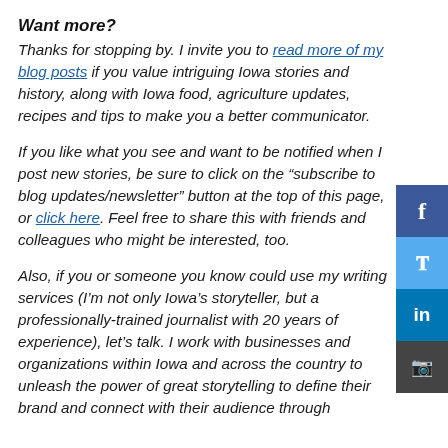Want more?
Thanks for stopping by. I invite you to read more of my blog posts if you value intriguing Iowa stories and history, along with Iowa food, agriculture updates, recipes and tips to make you a better communicator.
If you like what you see and want to be notified when I post new stories, be sure to click on the “subscribe to blog updates/newsletter” button at the top of this page, or click here. Feel free to share this with friends and colleagues who might be interested, too.
Also, if you or someone you know could use my writing services (I’m not only Iowa’s storyteller, but a professionally-trained journalist with 20 years of experience), let’s talk. I work with businesses and organizations within Iowa and across the country to unleash the power of great storytelling to define their brand and connect with their audience through